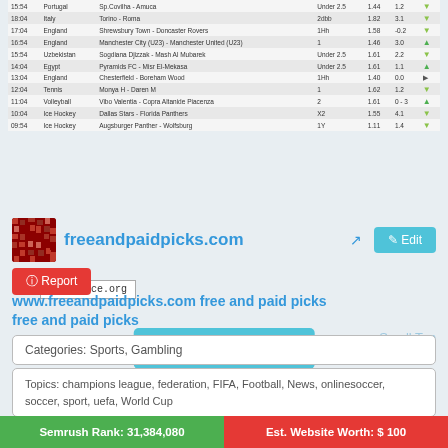| Time | Country | Match | Bet | Odds | Score |  |
| --- | --- | --- | --- | --- | --- | --- |
| 15:54 | Portugal | Sp.Covilha - Amuca | Under 2.5 | 1.44 | 1.2 | ▼ |
| 18:04 | Italy | Torino - Roma | 2dbb | 1.82 | 3.1 | ▼ |
| 17:04 | England | Shrewsbury Town - Doncaster Rovers | 1Hh | 1.58 | -0.2 | ▼ |
| 16:54 | England | Manchester City (U23) - Manchester United (U23) | 1 | 1.46 | 3.0 | ▲ |
| 15:54 | Uzbekistan | Sogdiana Djizzak - Mash Al Mubarek | Under 2.5 | 1.61 | 2.2 | ▼ |
| 14:04 | Egypt | Pyramids FC - Misr El-Mekasa | Under 2.5 | 1.61 | 1.1 | ▲ |
| 13:04 | England | Chesterfield - Boreham Wood | 1Hh | 1.40 | 0.0 | ▶ |
| 12:04 | Tennis | Monya H - Daren M | 1 | 1.62 | 1.2 | ▼ |
| 11:04 | Volleyball | Vibo Valentia - Copra Altanide Piacenza | 2 | 1.61 | 0 - 3 | ▲ |
| 10:04 | Ice Hockey | Dallas Stars - Florida Panthers | X2 | 1.55 | 4.1 | ▼ |
| 09:54 | Ice Hockey | Augsburger Panther - Wolfsburg | 1Y | 1.11 | 1.4 | ▼ |
[Figure (screenshot): siteprice.org watermark box]
Write a Review
[Figure (logo): freeandpaidpicks.com site logo - red mosaic pattern]
freeandpaidpicks.com
Edit
Report
www.freeandpaidpicks.com free and paid picks free and paid picks
Scroll Top
Categories: Sports, Gambling
Topics: champions league, federation, FIFA, Football, News, onlinesoccer, soccer, sport, uefa, World Cup
Semrush Rank: 31,384,080
Est. Website Worth: $ 100